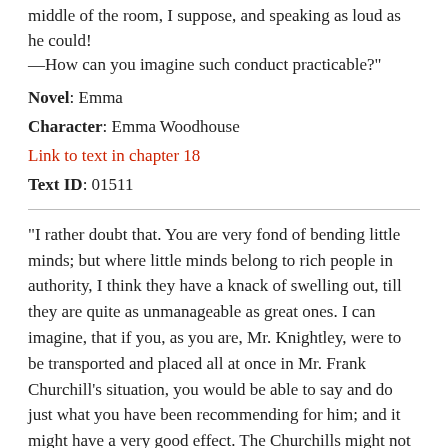middle of the room, I suppose, and speaking as loud as he could! —How can you imagine such conduct practicable?"
Novel: Emma
Character: Emma Woodhouse
Link to text in chapter 18
Text ID: 01511
"I rather doubt that. You are very fond of bending little minds; but where little minds belong to rich people in authority, I think they have a knack of swelling out, till they are quite as unmanageable as great ones. I can imagine, that if you, as you are, Mr. Knightley, were to be transported and placed all at once in Mr. Frank Churchill's situation, you would be able to say and do just what you have been recommending for him; and it might have a very good effect. The Churchills might not have a word to say in return; but then, you would have no habits of early obedience and long observance to break through. To him who has, it might not be so easy to burst forth at once into perfect independence, and set all their claims on his gratitude and regard at nought. He may have as strong a sense of what would be right,